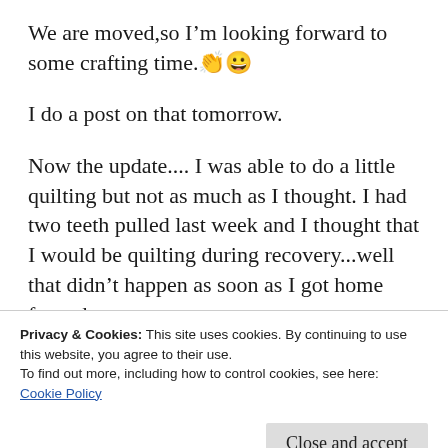We are moved,so I'm looking forward to some crafting time.👏😀
I do a post on that tomorrow.
Now the update.... I was able to do a little quilting but not as much as I thought. I had two teeth pulled last week and I thought that I would be quilting during recovery...well that didn't happen as soon as I got home from the
Privacy & Cookies: This site uses cookies. By continuing to use this website, you agree to their use.
To find out more, including how to control cookies, see here:
Cookie Policy
Close and accept
backed off of them,and felt much better.